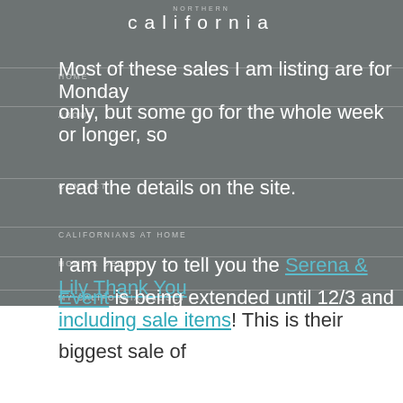NORTHERN CALIFORNIA HOME
Most of these sales I am listing are for Monday only, but some go for the whole week or longer, so read the details on the site.
ABOUT
CONTACT
CALIFORNIANS AT HOME
HOME & DECOR
I am happy to tell you the Serena & Lily Thank You Event is being extended until 12/3 and now including sale items! This is their biggest sale of the year, so check out my dedicated post to what to buy for the home and for gifts during this event!
Everything goes, here is 25% off right now.